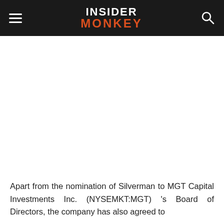INSIDER MONKEY
Apart from the nomination of Silverman to MGT Capital Investments Inc. (NYSEMKT:MGT) 's Board of Directors, the company has also agreed to